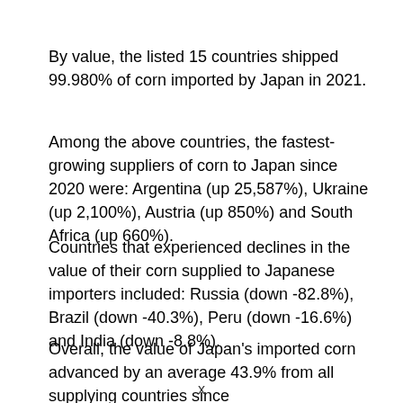By value, the listed 15 countries shipped 99.980% of corn imported by Japan in 2021.
Among the above countries, the fastest-growing suppliers of corn to Japan since 2020 were: Argentina (up 25,587%), Ukraine (up 2,100%), Austria (up 850%) and South Africa (up 660%).
Countries that experienced declines in the value of their corn supplied to Japanese importers included: Russia (down -82.8%), Brazil (down -40.3%), Peru (down -16.6%) and India (down -8.8%).
Overall, the value of Japan's imported corn advanced by an average 43.9% from all supplying countries since 2020…
x